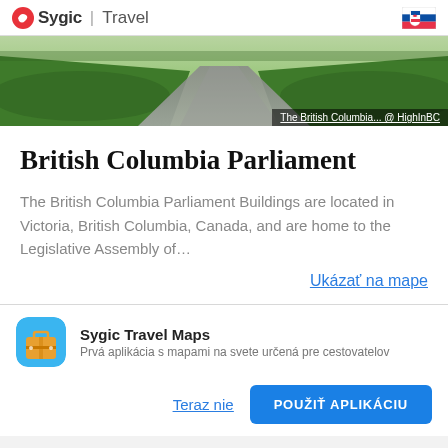Sygic | Travel
[Figure (photo): Aerial/ground-level photo of a pathway through green grass lawns, likely British Columbia Parliament grounds. Caption: The British Columbia... @ HighInBC]
British Columbia Parliament
The British Columbia Parliament Buildings are located in Victoria, British Columbia, Canada, and are home to the Legislative Assembly of…
Ukázať na mape
Sygic Travel Maps
Prvá aplikácia s mapami na svete určená pre cestovatelov
Teraz nie
POUŽIŤ APLIKÁCIU